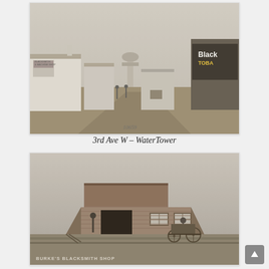[Figure (photo): Black and white historical photograph of 3rd Ave W showing a dirt road with early 20th century buildings on both sides, a water tower visible in the background, and a Black Cat Tobacco advertisement sign on the right. Number 10659 printed at the bottom.]
3rd Ave W – WaterTower
[Figure (photo): Black and white historical photograph of Burke's Blacksmith Shop, a wooden frontier-style building with a false front facade. Two people are visible near the entrance, and a horse-drawn buggy or wagon is parked to the right. Text at bottom reads 'BURKE'S BLACKSMITH SHOP'.]